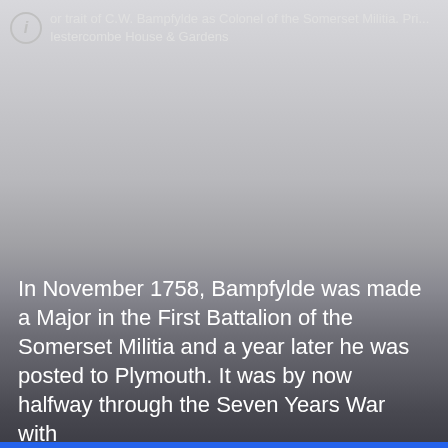or trait of C.W. Bampfylde as Colonel of the Somerset Militia. Pri... Iestercombe House & Gardens
[Figure (photo): A portrait photograph, largely washed out or overexposed, showing a faded image. The background transitions from light gray at the top to dark gray/black at the bottom.]
In November 1758, Bampfylde was made a Major in the First Battalion of the Somerset Militia and a year later he was posted to Plymouth. It was by now halfway through the Seven Years War with